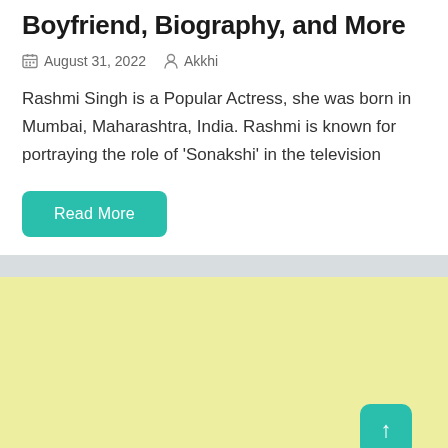Boyfriend, Biography, and More
August 31, 2022   Akkhi
Rashmi Singh is a Popular Actress, she was born in Mumbai, Maharashtra, India. Rashmi is known for portraying the role of 'Sonakshi' in the television
Read More